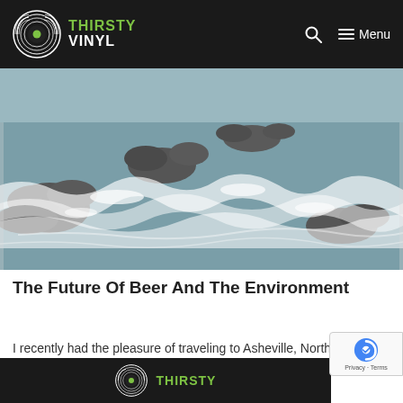THIRSTY VINYL — Menu
[Figure (photo): Rushing river rapids over rocks — turbulent whitewater with rocky outcroppings]
The Future Of Beer And The Environment
I recently had the pleasure of traveling to Asheville, North Carolina…
THIRSTY (logo footer)